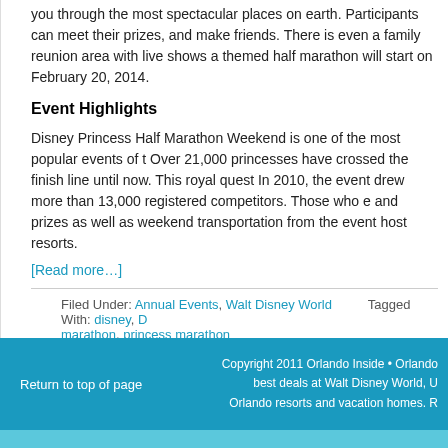you through the most spectacular places on earth. Participants can meet their prizes, and make friends. There is even a family reunion area with live shows a themed half marathon will start on February 20, 2014.
Event Highlights
Disney Princess Half Marathon Weekend is one of the most popular events of t Over 21,000 princesses have crossed the finish line until now. This royal quest In 2010, the event drew more than 13,000 registered competitors. Those who e and prizes as well as weekend transportation from the event host resorts.
[Read more…]
Filed Under: Annual Events, Walt Disney World Tagged With: disney, D marathon, princess marathon
Return to top of page    Copyright 2011 Orlando Inside • Orlando best deals at Walt Disney World, U Orlando resorts and vacation homes. R